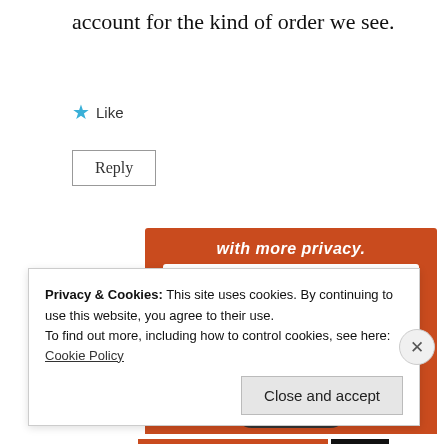account for the kind of order we see.
[Figure (screenshot): Like button with blue star icon and 'Like' text]
[Figure (screenshot): Reply button with border]
[Figure (advertisement): DuckDuckGo app advertisement on orange background showing phone with duck logo, text 'with more privacy. All in One Free App']
Privacy & Cookies: This site uses cookies. By continuing to use this website, you agree to their use.
To find out more, including how to control cookies, see here:
Cookie Policy
[Figure (screenshot): Close and accept button]